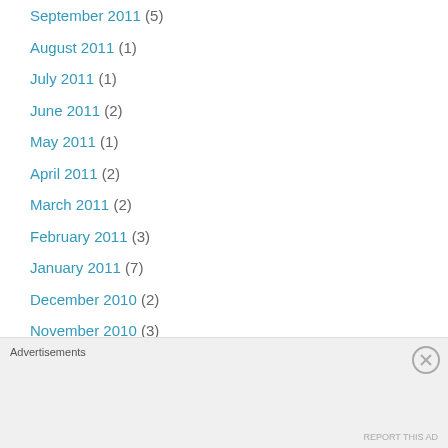September 2011 (5)
August 2011 (1)
July 2011 (1)
June 2011 (2)
May 2011 (1)
April 2011 (2)
March 2011 (2)
February 2011 (3)
January 2011 (7)
December 2010 (2)
November 2010 (3)
October 2010 (2)
Advertisements
REPORT THIS AD